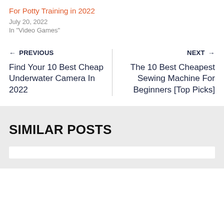For Potty Training in 2022
July 20, 2022
In "Video Games"
← PREVIOUS
Find Your 10 Best Cheap Underwater Camera In 2022
NEXT →
The 10 Best Cheapest Sewing Machine For Beginners [Top Picks]
SIMILAR POSTS